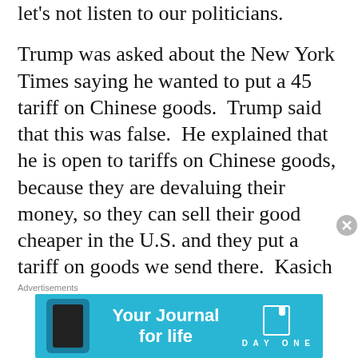let's not listen to our politicians.
Trump was asked about the New York Times saying he wanted to put a 45 tariff on Chinese goods.  Trump said that this was false.  He explained that he is open to tariffs on Chinese goods, because they are devaluing their money, so they can sell their good cheaper in the U.S. and they put a tariff on goods we send there.  Kasich basically agreed with him, but Rubio  said that the U.S. consumer would end up paying the
[Figure (other): Advertisement banner: 'Your Journal for life' Day One app ad with phone illustration and logo]